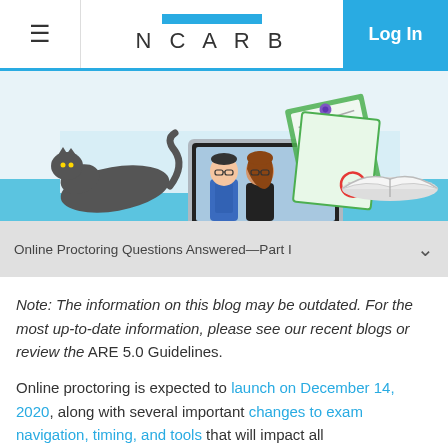NCARB  Log In
[Figure (illustration): Illustration showing a dark cat on the left, a laptop with two cartoon people (man and woman) on screen in the center, and papers/documents with a red stamp on the right, on a light blue surface with an open book.]
Online Proctoring Questions Answered—Part I
Note: The information on this blog may be outdated. For the most up-to-date information, please see our recent blogs or review the ARE 5.0 Guidelines.
Online proctoring is expected to launch on December 14, 2020, along with several important changes to exam navigation, timing, and tools that will impact all